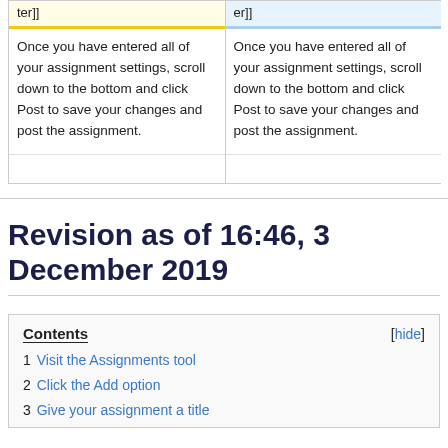| ter]] | er]] |
| --- | --- |
| Once you have entered all of your assignment settings, scroll down to the bottom and click Post to save your changes and post the assignment. | Once you have entered all of your assignment settings, scroll down to the bottom and click Post to save your changes and post the assignment. |
Revision as of 16:46, 3 December 2019
1 Visit the Assignments tool
2 Click the Add option
3 Give your assignment a title